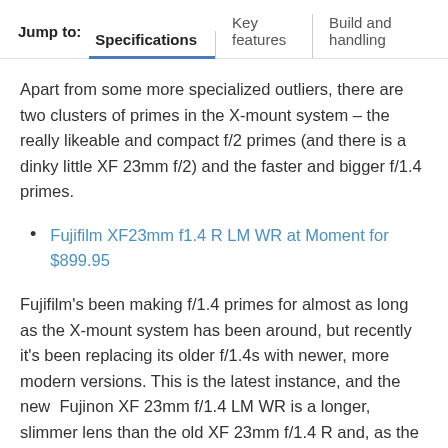Jump to: Specifications | Key features | Build and handling
Apart from some more specialized outliers, there are two clusters of primes in the X-mount system – the really likeable and compact f/2 primes (and there is a dinky little XF 23mm f/2) and the faster and bigger f/1.4 primes.
Fujifilm XF23mm f1.4 R LM WR at Moment for $899.95
Fujifilm's been making f/1.4 primes for almost as long as the X-mount system has been around, but recently it's been replacing its older f/1.4s with newer, more modern versions. This is the latest instance, and the new Fujinon XF 23mm f/1.4 LM WR is a longer, slimmer lens than the old XF 23mm f/1.4 R and, as the